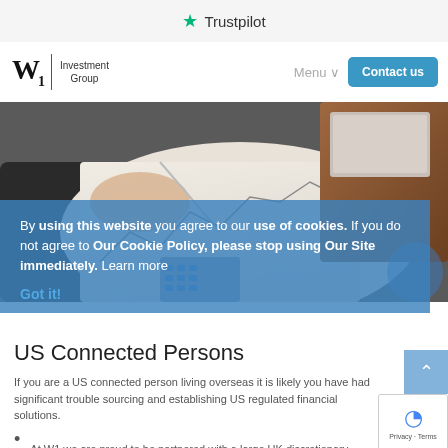★ Trustpilot
[Figure (screenshot): W1 Investment Group logo with navigation bar including Menu and Contact us button]
[Figure (photo): Hero image of a person writing on a chart/graph paper with a calculator and laptop in the background]
By using this website you agree to our use of cookies. If you do not agree to Our Cookie Policy, please stop using Our Site immediately. Learn more
Got it!
US Connected Persons
If you are a US connected person living overseas it is likely you have had significant trouble sourcing and establishing US regulated financial solutions.
At W1 we are proud to be partnered with a large UK discretionary